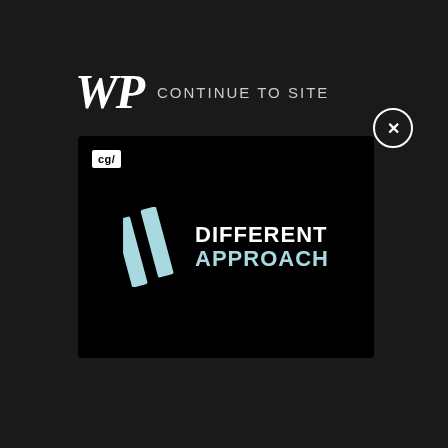[Figure (logo): WP (Washington Post) logo in white serif italic bold font, followed by 'CONTINUE TO SITE' text in light gray uppercase]
[Figure (screenshot): Advertisement banner with black background showing 'cg/' badge in top-left corner and two diagonal slash marks alongside 'DIFFERENT APPROACH' text, 'DIFFERENT' in white bold and 'APPROACH' in light blue bold]